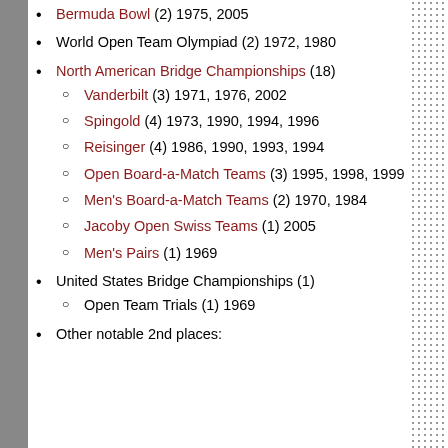Bermuda Bowl (2) 1975, 2005
World Open Team Olympiad (2) 1972, 1980
North American Bridge Championships (18)
Vanderbilt (3) 1971, 1976, 2002
Spingold (4) 1973, 1990, 1994, 1996
Reisinger (4) 1986, 1990, 1993, 1994
Open Board-a-Match Teams (3) 1995, 1998, 1999
Men's Board-a-Match Teams (2) 1970, 1984
Jacoby Open Swiss Teams (1) 2005
Men's Pairs (1) 1969
United States Bridge Championships (1)
Open Team Trials (1) 1969
Other notable 2nd places: